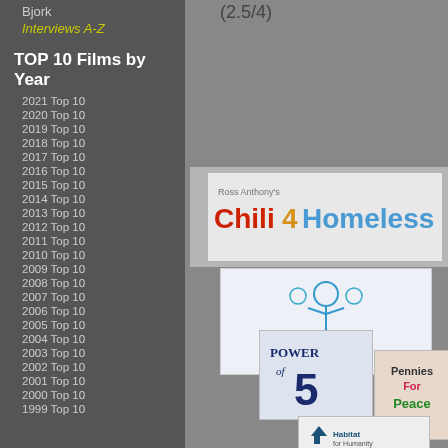Bjork
Interviews A-Z
(2.5/4)
TOP 10 Films by Year
2021 Top 10
2020 Top 10
2019 Top 10
2018 Top 10
2017 Top 10
2016 Top 10
2015 Top 10
2014 Top 10
2013 Top 10
2012 Top 10
2011 Top 10
2010 Top 10
2009 Top 10
2008 Top 10
2007 Top 10
2006 Top 10
2005 Top 10
2004 Top 10
2003 Top 10
2002 Top 10
2001 Top 10
2000 Top 10
1999 Top 10
[Figure (logo): Ross Anthony's Chili4Homeless logo]
[Figure (logo): Special Olympics Southern California logo]
[Figure (logo): Power of 5 logo]
[Figure (logo): Pennies For Peace .org logo]
[Figure (logo): Habitat for Humanity logo]